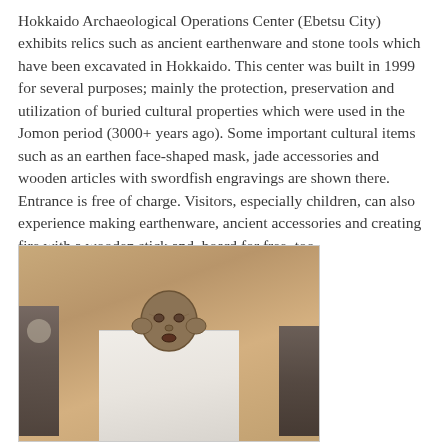Hokkaido Archaeological Operations Center (Ebetsu City) exhibits relics such as ancient earthenware and stone tools which have been excavated in Hokkaido. This center was built in 1999 for several purposes; mainly the protection, preservation and utilization of buried cultural properties which were used in the Jomon period (3000+ years ago). Some important cultural items such as an earthen face-shaped mask, jade accessories and wooden articles with swordfish engravings are shown there. Entrance is free of charge. Visitors, especially children, can also experience making earthenware, ancient accessories and creating fire with a wooden stick and  board for free, too.
[Figure (photo): A photograph of an earthen face-shaped mask displayed on a white pedestal block, surrounded by dark stones on the sides, with a wooden floor in the background.]